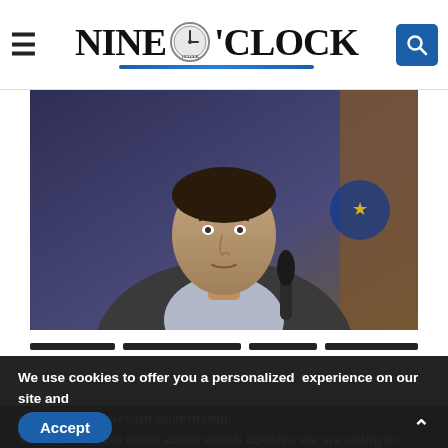Nine O'Clock — website header with hamburger menu and search button
[Figure (photo): A middle-aged man in a dark blazer sitting at a desk with a microphone, with blue/purple flags in the background.]
We use cookies to offer you a personalized experience on our site and to show you relevant advertising. You can find out more about which cookies we are using or switch them off in settings.
Accept